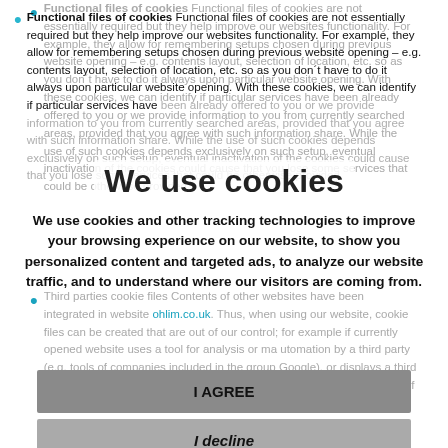Functional files of cookies Functional files of cookies are not essentially required but they help improve our websites functionality. For example, they allow for remembering setups chosen during previous website opening – e.g. contents layout, selection of location, etc. so as you don't have to do it always upon particular website opening. With these cookies, we can identify if particular services have been already offered to you or we provide information to you from currently searched areas, provided that you agree with such information share. While the use of such cookies depends exclusively on such setup, eventual inactivation of the cookies could cause that you lose some services that could be otherwise provided.
We use cookies
We use cookies and other tracking technologies to improve your browsing experience on our website, to show you personalized content and targeted ads, to analyze our website traffic, and to understand where our visitors are coming from.
Third parties cookie files Contents of other websites have been integrated in website ohlim.co.uk. Thus, when using our website, cookie files can be created that are out of our control; for example if currently opened website uses a tool for analysis or marketing automation by a third party (e.g. tools of companies included in the group Google), or displays a third party web page contents, e.g. YouTube or Facebook. This results in acceptation of cookie files from third parties' servers. OETUM BOHEMIA, s.r.o.
I AGREE
I decline
Change my preferences